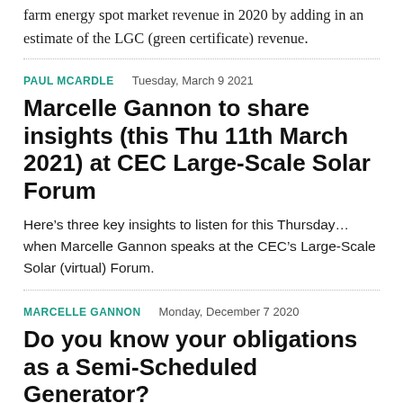farm energy spot market revenue in 2020 by adding in an estimate of the LGC (green certificate) revenue.
PAUL MCARDLE   Tuesday, March 9 2021
Marcelle Gannon to share insights (this Thu 11th March 2021) at CEC Large-Scale Solar Forum
Here’s three key insights to listen for this Thursday… when Marcelle Gannon speaks at the CEC’s Large-Scale Solar (virtual) Forum.
MARCELLE GANNON   Monday, December 7 2020
Do you know your obligations as a Semi-Scheduled Generator?
This is the first of a short series of video snippets extracted from the 17th September 2020 presentation by Marcelle Gannon and Jonathan